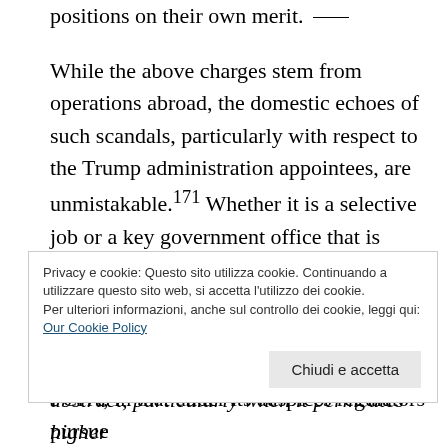positions on their own merit.
While the above charges stem from operations abroad, the domestic echoes of such scandals, particularly with respect to the Trump administration appointees, are unmistakable.171 Whether it is a selective job or a key government office that is dispensed to curry favor, the culture of corruption undermines meritocracy and promotes oligarchy. The JPMorgan Chase case also illustrates the broad sweep of the FCPA, in that under its auspices regulators pursue
Privacy e cookie: Questo sito utilizza cookie. Continuando a utilizzare questo sito web, si accetta l'utilizzo dei cookie.
Per ulteriori informazioni, anche sul controllo dei cookie, leggi qui:
Our Cookie Policy
Chiudi e accetta
abstract, particularly when it permeates higher